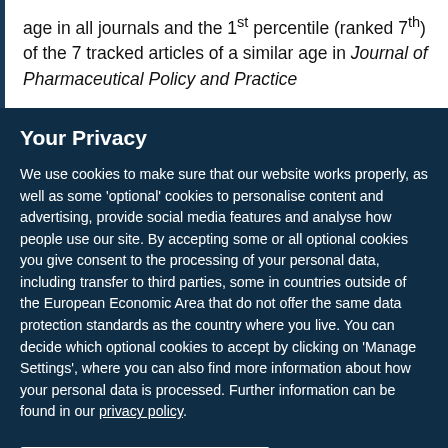age in all journals and the 1st percentile (ranked 7th) of the 7 tracked articles of a similar age in Journal of Pharmaceutical Policy and Practice
Your Privacy
We use cookies to make sure that our website works properly, as well as some 'optional' cookies to personalise content and advertising, provide social media features and analyse how people use our site. By accepting some or all optional cookies you give consent to the processing of your personal data, including transfer to third parties, some in countries outside of the European Economic Area that do not offer the same data protection standards as the country where you live. You can decide which optional cookies to accept by clicking on 'Manage Settings', where you can also find more information about how your personal data is processed. Further information can be found in our privacy policy.
Accept all cookies
Manage preferences